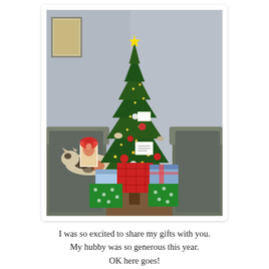[Figure (photo): Indoor photo of a decorated Christmas tree with red, white, and gold ornaments and string lights, surrounded by wrapped presents in red plaid, green, and blue wrapping paper. A calico cat is visible resting on a grey couch to the left of the tree. A picture frame is on the wall in the background.]
I was so excited to share my gifts with you. My hubby was so generous this year. OK here goes!